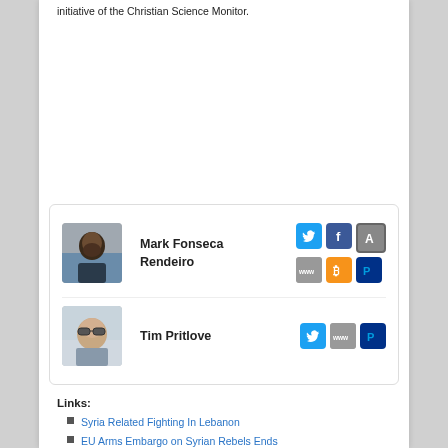initiative of the Christian Science Monitor.
[Figure (photo): Author card with Mark Fonseca Rendeiro photo and social icons (Twitter, Facebook, At-sign, WWW, Bitcoin, PayPal), and Tim Pritlove photo with social icons (Twitter, WWW, PayPal)]
Links:
Syria Related Fighting In Lebanon
EU Arms Embargo on Syrian Rebels Ends